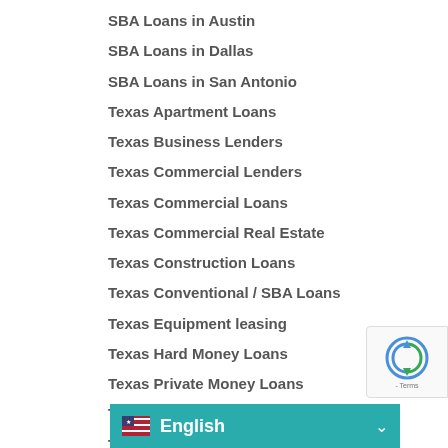SBA Loans in Austin
SBA Loans in Dallas
SBA Loans in San Antonio
Texas Apartment Loans
Texas Business Lenders
Texas Commercial Lenders
Texas Commercial Loans
Texas Commercial Real Estate
Texas Construction Loans
Texas Conventional / SBA Loans
Texas Equipment leasing
Texas Hard Money Loans
Texas Private Money Loans
Texas Rehab Loans
Texas Residential Real E…